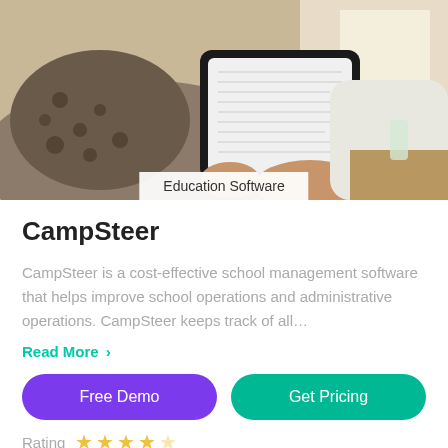[Figure (photo): Person relaxing on a couch holding a tablet/e-reader device, reading content. Soft warm background with natural light.]
Education Software
CampSteer
CampSteer is a cost-effective school management software that helps improve school operations and administrative operations. CampSteer keeps track of all…
Read More ›
Free Demo
Get Pricing
Rating